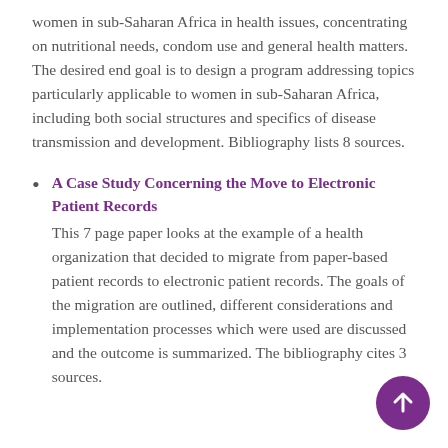women in sub-Saharan Africa in health issues, concentrating on nutritional needs, condom use and general health matters. The desired end goal is to design a program addressing topics particularly applicable to women in sub-Saharan Africa, including both social structures and specifics of disease transmission and development. Bibliography lists 8 sources.
A Case Study Concerning the Move to Electronic Patient Records
This 7 page paper looks at the example of a health organization that decided to migrate from paper-based patient records to electronic patient records. The goals of the migration are outlined, different considerations and implementation processes which were used are discussed and the outcome is summarized. The bibliography cites 3 sources.